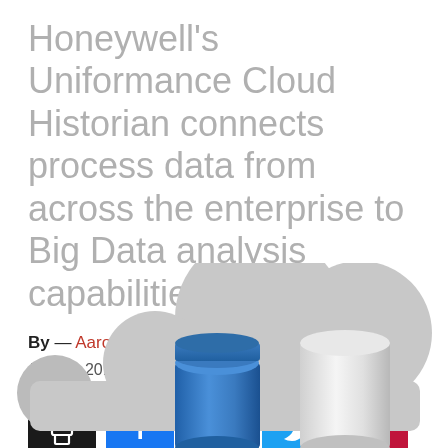Honeywell's Uniformance Cloud Historian connects process data from across the enterprise to Big Data analysis capabilities.
By — Aaron Hand, Aaron Hand
Jan 16, 2018
[Figure (infographic): Social sharing buttons: print (black), Facebook (blue), LinkedIn (dark blue), Twitter (light blue), Pinterest (dark red)]
[Figure (illustration): Cloud computing illustration with blue and silver database cylinders against grey cloud shapes]